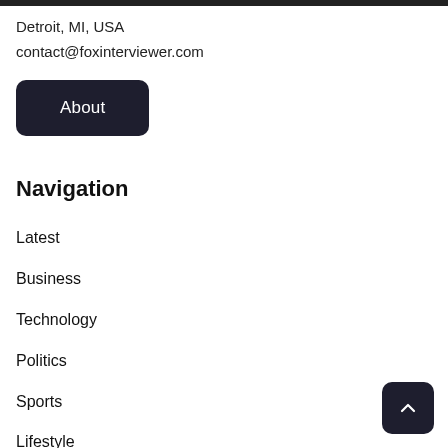Detroit, MI, USA
contact@foxinterviewer.com
About
Navigation
Latest
Business
Technology
Politics
Sports
Lifestyle
Healthcare